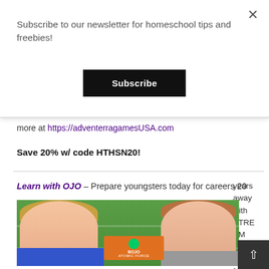Subscribe to our newsletter for homeschool tips and freebies!
Subscribe
more at https://adventerragamesUSA.com
Save 20% w/ code HTHSN20!
Learn with OJO – Prepare youngsters today for careers 20 years away with STREAM games f
[Figure (photo): Two children smiling, holding an OJO Atomic Force box, with green shelving in the background. A boy in a blue shirt on the left and a girl in a gray shirt on the right.]